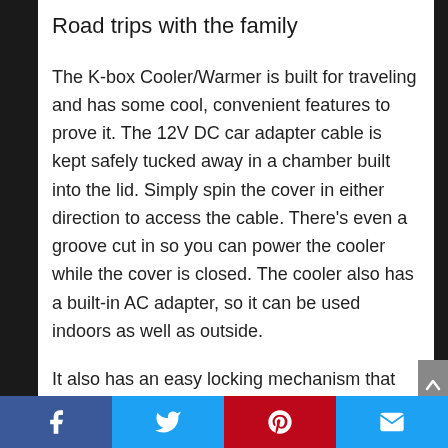Road trips with the family
The K-box Cooler/Warmer is built for traveling and has some cool, convenient features to prove it. The 12V DC car adapter cable is kept safely tucked away in a chamber built into the lid. Simply spin the cover in either direction to access the cable. There’s even a groove cut in so you can power the cooler while the cover is closed. The cooler also has a built-in AC adapter, so it can be used indoors as well as outside.
It also has an easy locking mechanism that keeps the lid tightly sealed, maintaining the
Facebook | Twitter | Pinterest | Email